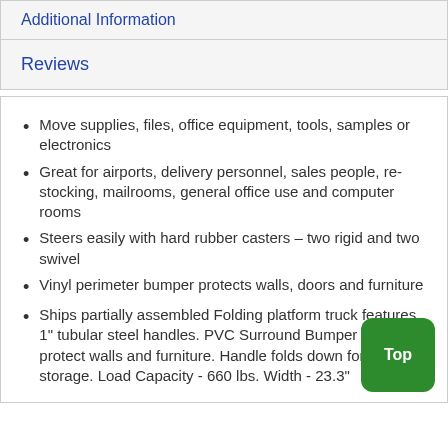Additional Information
Reviews
Move supplies, files, office equipment, tools, samples or electronics
Great for airports, delivery personnel, sales people, re-stocking, mailrooms, general office use and computer rooms
Steers easily with hard rubber casters – two rigid and two swivel
Vinyl perimeter bumper protects walls, doors and furniture
Ships partially assembled Folding platform truck features 1" tubular steel handles. PVC Surround Bumper helps protect walls and furniture. Handle folds down for easy storage. Load Capacity - 660 lbs. Width - 23.3"